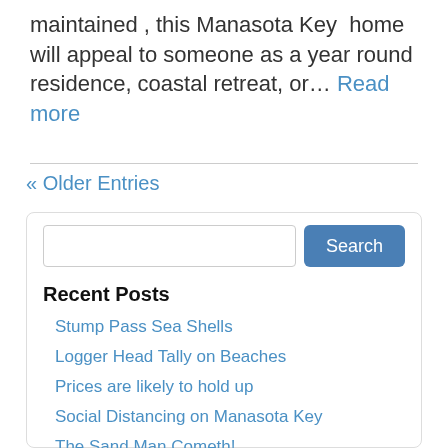maintained , this Manasota Key  home will appeal to someone as a year round residence, coastal retreat, or… Read more
« Older Entries
Search
Recent Posts
Stump Pass Sea Shells
Logger Head Tally on Beaches
Prices are likely to hold up
Social Distancing on Manasota Key
The Sand Man Cometh!
Categories